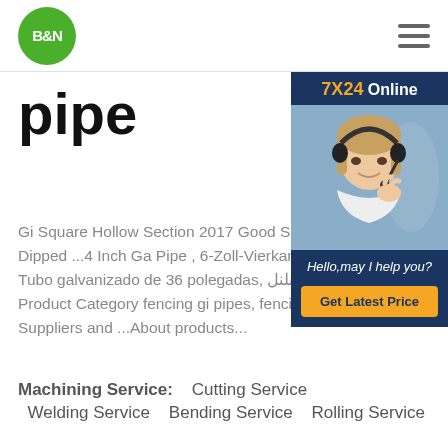B&N [logo] | [hamburger menu]
[Figure (infographic): Chat widget with '7X24 Online' header bar, photo of smiling female customer service representative with headset, tagline 'Hello,may I help you?' and yellow 'Get Latest Price' button]
pipe
Gi Square Hollow Section 2017 Good Square Tube – Hot Dipped ...4 Inch Ga Pipe , 6-Zoll-Vierkantrohr, Harga Tabu Tubo galvanizado de 36 polegadas, ق نلنل Gi 08/01/2016 Product Category fencing gi pipes, fencing gi pipes Suppliers and ...About products...
Machining Service:   Cutting Service Welding Service   Bending Service   Rolling Service